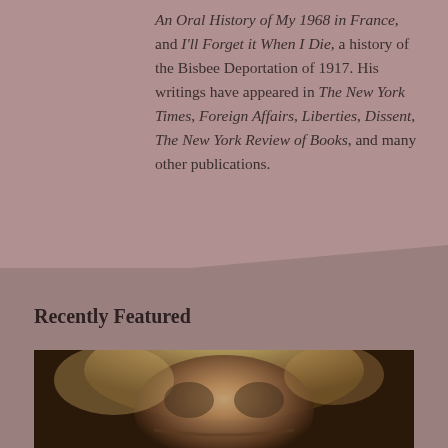An Oral History of My 1968 in France, and I'll Forget it When I Die, a history of the Bisbee Deportation of 1917. His writings have appeared in The New York Times, Foreign Affairs, Liberties, Dissent, The New York Review of Books, and many other publications.
Recently Featured
[Figure (photo): A photograph of a person with blonde/light hair, partially visible, cropped at the bottom of the page.]